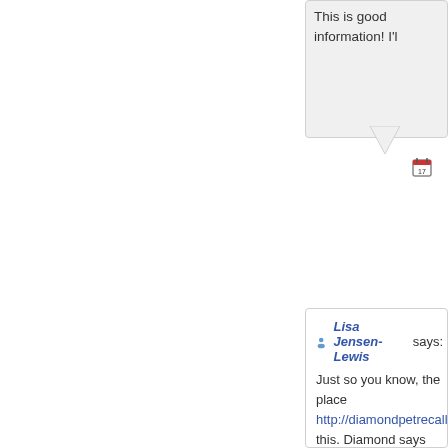This is good information! I'l
[Figure (other): Speech bubble tail / chat bubble graphic element]
[Figure (other): Calendar icon (small, date icon with '17' or similar)]
Lisa Jensen-Lewis says: Just so you know, the place http://diamondpetrecall.co this. Diamond says there is was Voluntary, as they are n correct codes are on this w food affected, and the way this situation is it can happe Salmonella in our own hom everything is perfect, we av products will have flaws on company, with excellent pr they want transparency for Thank for sharing this...